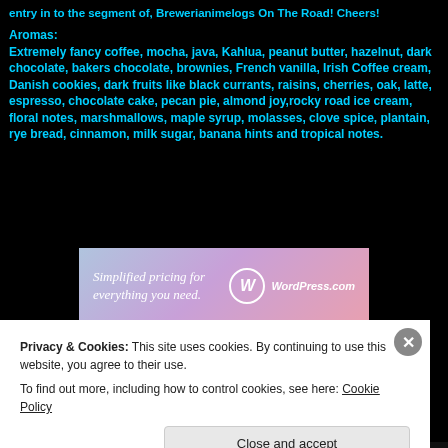entry in to the segment of, Brewerianimelogs On The Road! Cheers!
Aromas:
Extremely fancy coffee, mocha, java, Kahlua, peanut butter, hazelnut, dark chocolate, bakers chocolate, brownies, French vanilla, Irish Coffee cream, Danish cookies, dark fruits like black currants, raisins, cherries, oak, latte, espresso, chocolate cake, pecan pie, almond joy,rocky road ice cream, floral notes, marshmallows, maple syrup, molasses, clove spice, plantain, rye bread, cinnamon, milk sugar, banana hints and tropical notes.
[Figure (screenshot): WordPress.com advertisement: Simplified pricing for everything you need.]
Privacy & Cookies: This site uses cookies. By continuing to use this website, you agree to their use.
To find out more, including how to control cookies, see here: Cookie Policy